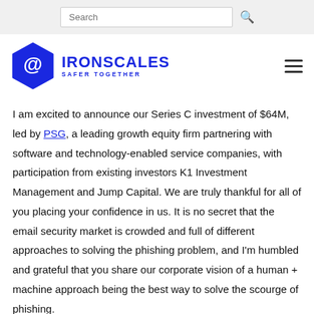Search
[Figure (logo): IRONSCALES logo — blue hexagon with @ symbol and text IRONSCALES SAFER TOGETHER]
I am excited to announce our Series C investment of $64M, led by PSG, a leading growth equity firm partnering with software and technology-enabled service companies, with participation from existing investors K1 Investment Management and Jump Capital. We are truly thankful for all of you placing your confidence in us. It is no secret that the email security market is crowded and full of different approaches to solving the phishing problem, and I'm humbled and grateful that you share our corporate vision of a human + machine approach being the best way to solve the scourge of phishing.